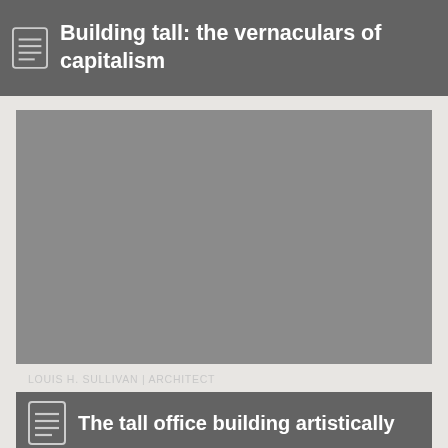Building tall: the vernaculars of capitalism
[Figure (photo): Large grey placeholder image representing an architectural photograph related to tall office buildings]
LOUIS H. SULLIVAN | ARCHITECT
The tall office building artistically considered